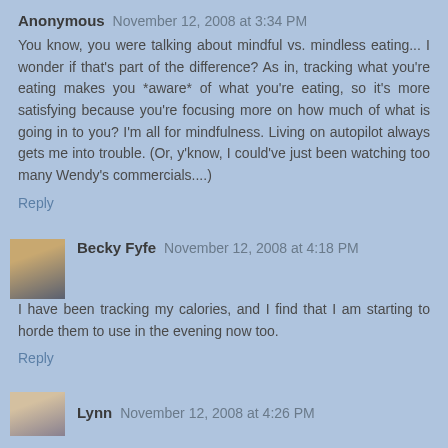Anonymous November 12, 2008 at 3:34 PM
You know, you were talking about mindful vs. mindless eating... I wonder if that's part of the difference? As in, tracking what you're eating makes you *aware* of what you're eating, so it's more satisfying because you're focusing more on how much of what is going in to you? I'm all for mindfulness. Living on autopilot always gets me into trouble. (Or, y'know, I could've just been watching too many Wendy's commercials....)
Reply
Becky Fyfe November 12, 2008 at 4:18 PM
I have been tracking my calories, and I find that I am starting to horde them to use in the evening now too.
Reply
Lynn November 12, 2008 at 4:26 PM